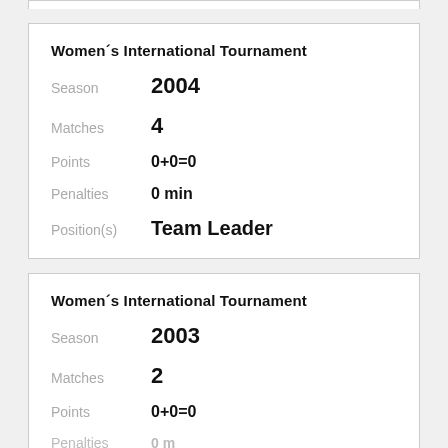| Field | Value |
| --- | --- |
| Tournament | Women´s International Tournament |
| Season | 2004 |
| Matches | 4 |
| Points | 0+0=0 |
| Penalties | 0 min |
| Position(s) | Team Leader |
| Field | Value |
| --- | --- |
| Tournament | Women´s International Tournament |
| Season | 2003 |
| Matches | 2 |
| Points | 0+0=0 |
| Penalties | 0 min |